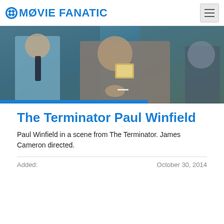MOVIE FANATIC
[Figure (photo): Scene from The Terminator showing Paul Winfield in a dark indoor setting with another person, both in a dimly lit environment. A blue bar overlays the bottom-left portion of the image.]
The Terminator Paul Winfield
Paul Winfield in a scene from The Terminator. James Cameron directed.
Added:    October 30, 2014